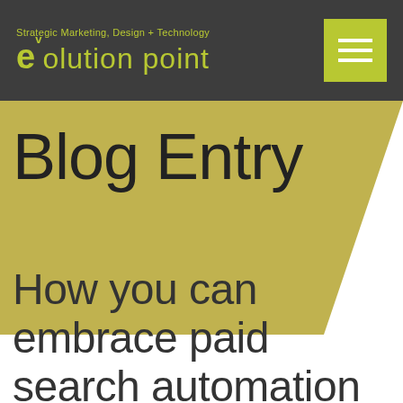evolution point — Strategic Marketing, Design + Technology
Blog Entry
How you can embrace paid search automation to maximize